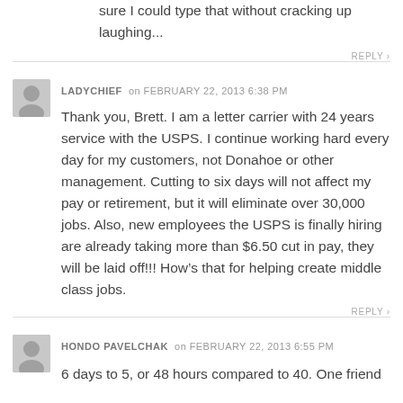sure I could type that without cracking up laughing...
REPLY ›
LADYCHIEF on FEBRUARY 22, 2013 6:38 PM
Thank you, Brett. I am a letter carrier with 24 years service with the USPS. I continue working hard every day for my customers, not Donahoe or other management. Cutting to six days will not affect my pay or retirement, but it will eliminate over 30,000 jobs. Also, new employees the USPS is finally hiring are already taking more than $6.50 cut in pay, they will be laid off!!! How's that for helping create middle class jobs.
REPLY ›
HONDO PAVELCHAK on FEBRUARY 22, 2013 6:55 PM
6 days to 5, or 48 hours compared to 40. One friend